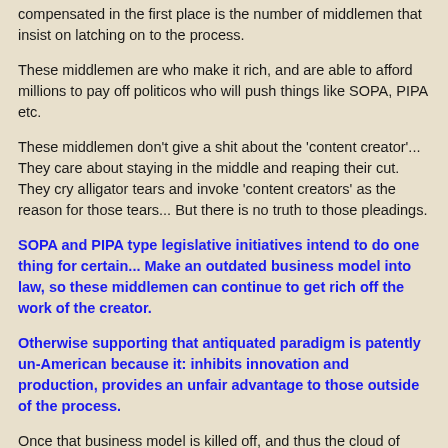compensated in the first place is the number of middlemen that insist on latching on to the process.
These middlemen are who make it rich, and are able to afford millions to pay off politicos who will push things like SOPA, PIPA etc.
These middlemen don't give a shit about the 'content creator'... They care about staying in the middle and reaping their cut. They cry alligator tears and invoke 'content creators' as the reason for those tears... But there is no truth to those pleadings.
SOPA and PIPA type legislative initiatives intend to do one thing for certain... Make an outdated business model into law, so these middlemen can continue to get rich off the work of the creator.
Otherwise supporting that antiquated paradigm is patently un-American because it: inhibits innovation and production, provides an unfair advantage to those outside of the process.
Once that business model is killed off, and thus the cloud of middlemen are removed from the creative process... Content Creators will be in a much better position to make a living off of their work.